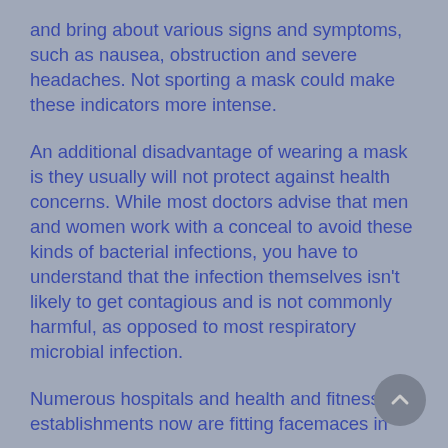and bring about various signs and symptoms, such as nausea, obstruction and severe headaches. Not sporting a mask could make these indicators more intense.
An additional disadvantage of wearing a mask is they usually will not protect against health concerns. While most doctors advise that men and women work with a conceal to avoid these kinds of bacterial infections, you have to understand that the infection themselves isn't likely to get contagious and is not commonly harmful, as opposed to most respiratory microbial infection.
Numerous hospitals and health and fitness establishments now are fitting facemaces in